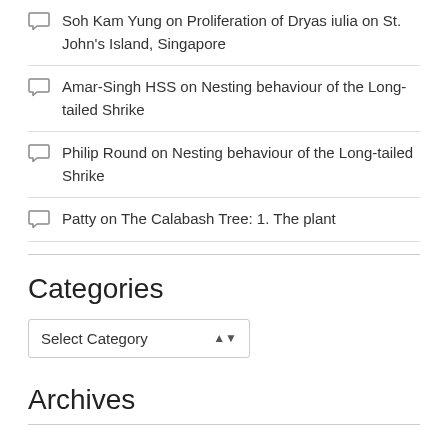Soh Kam Yung on Proliferation of Dryas iulia on St. John's Island, Singapore
Amar-Singh HSS on Nesting behaviour of the Long-tailed Shrike
Philip Round on Nesting behaviour of the Long-tailed Shrike
Patty on The Calabash Tree: 1. The plant
Categories
Select Category
Archives